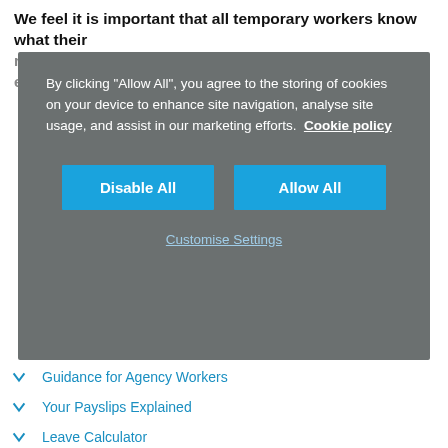We feel it is important that all temporary workers know what their rights are in terms of leave, holiday, benefits and other entitlements.
[Figure (screenshot): Cookie consent overlay dialog with grey background, text about cookie policy, 'Disable All' and 'Allow All' blue buttons, and a 'Customise Settings' link]
Guidance for Agency Workers
Your Payslips Explained
Leave Calculator
Opt-Out Agreement
Working Hours Calculator
Salary Calculator
Key Information Document